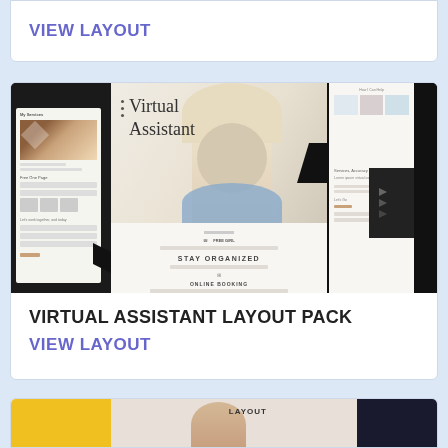VIEW LAYOUT
[Figure (screenshot): Virtual Assistant Layout Pack promotional screenshot collage showing multiple website pages including a hero section with a blonde woman in a blue scarf, geometric black shapes, and various content sections. Text reads 'Virtual Assistant' and 'STAY ORGANIZED'.]
VIRTUAL ASSISTANT LAYOUT PACK
VIEW LAYOUT
[Figure (screenshot): Partial view of a colorful layout pack preview with yellow sections at the bottom of the page.]